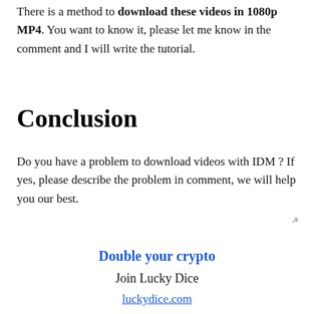There is a method to download these videos in 1080p MP4. You want to know it, please let me know in the comment and I will write the tutorial.
Conclusion
Do you have a problem to download videos with IDM ? If yes, please describe the problem in comment, we will help you our best.
Double your crypto
Join Lucky Dice
luckydice.com